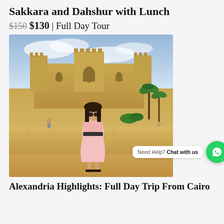Sakkara and Dahshur with Lunch
$150 $130 | Full Day Tour
[Figure (photo): Tourist woman in pink dress sitting on a stone wall in front of Qaitbay Citadel (medieval fortress) in Alexandria, Egypt, with palm trees and cloudy sky in background.]
Need Help? Chat with us
Alexandria Highlights: Full Day Trip From Cairo